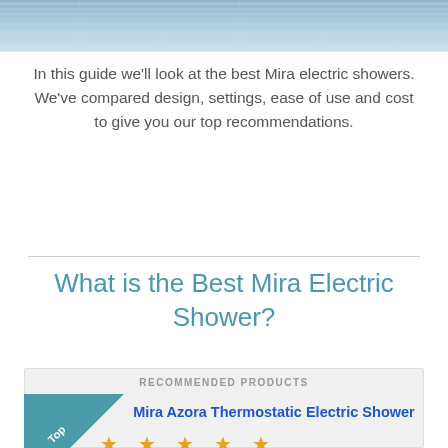[Figure (photo): Top banner with blurred shower/tile background image in blue-grey tones]
In this guide we'll look at the best Mira electric showers. We've compared design, settings, ease of use and cost to give you our top recommendations.
What is the Best Mira Electric Shower?
RECOMMENDED PRODUCTS
[Figure (illustration): Teal corner badge with 'Top' text]
Mira Azora Thermostatic Electric Shower
[Figure (illustration): Five gold/yellow star rating icons]